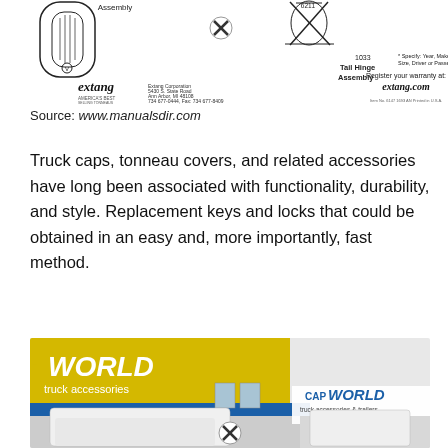[Figure (photo): Extang tonneau cover parts diagram showing assembly components, tail hinge assembly, and Extang Corporation branding with address in Ann Arbor, MI. Includes text: Register your warranty at extang.com]
Source: www.manualsdir.com
Truck caps, tonneau covers, and related accessories have long been associated with functionality, durability, and style. Replacement keys and locks that could be obtained in an easy and, more importantly, fast method.
[Figure (photo): Cap World truck accessories store front with yellow building facade showing 'WORLD truck accessories' signage and 'CAP WORLD truck accessories & trailers' logo. White trucks visible in foreground parking lot.]